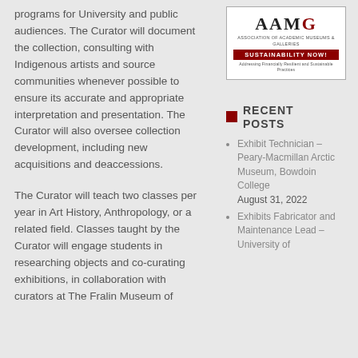programs for University and public audiences. The Curator will document the collection, consulting with Indigenous artists and source communities whenever possible to ensure its accurate and appropriate interpretation and presentation. The Curator will also oversee collection development, including new acquisitions and deaccessions.
The Curator will teach two classes per year in Art History, Anthropology, or a related field. Classes taught by the Curator will engage students in researching objects and co-curating exhibitions, in collaboration with curators at The Fralin Museum of
[Figure (logo): AAMG Sustainability Now logo with red and black text]
RECENT POSTS
Exhibit Technician – Peary-Macmillan Arctic Museum, Bowdoin College August 31, 2022
Exhibits Fabricator and Maintenance Lead – University of